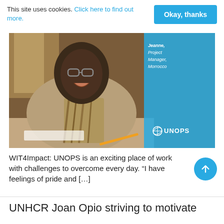This site uses cookies. Click here to find out more.
Okay, thanks
[Figure (photo): A smiling woman with glasses sitting at a desk; a blue panel overlay on the right with text 'Jeanne, Project Manager, Morrocco' and UNOPS logo]
WIT4Impact: UNOPS is an exciting place of work with challenges to overcome every day. “I have feelings of pride and […]
UNHCR Joan Opio striving to motivate